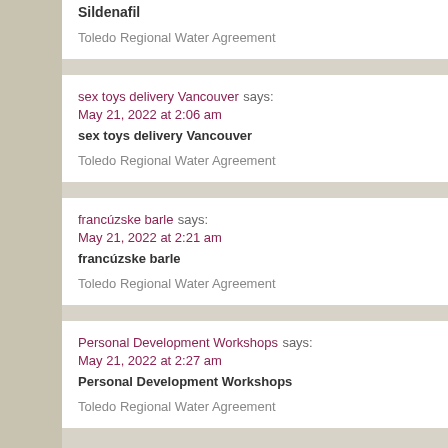Sildenafil
Toledo Regional Water Agreement
sex toys delivery Vancouver says:
May 21, 2022 at 2:06 am
sex toys delivery Vancouver
Toledo Regional Water Agreement
francúzske barle says:
May 21, 2022 at 2:21 am
francúzske barle
Toledo Regional Water Agreement
Personal Development Workshops says:
May 21, 2022 at 2:27 am
Personal Development Workshops
Toledo Regional Water Agreement